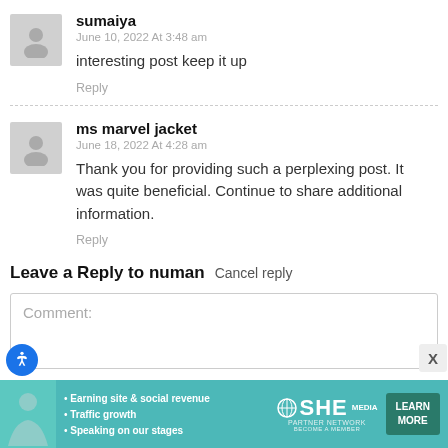sumaiya
June 10, 2022 At 3:48 am
interesting post keep it up
Reply
ms marvel jacket
June 18, 2022 At 4:28 am
Thank you for providing such a perplexing post. It was quite beneficial. Continue to share additional information.
Reply
Leave a Reply to numan Cancel reply
Comment: